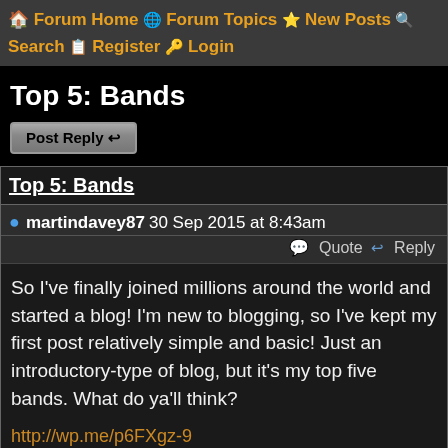🏠 Forum Home 🌐 Forum Topics ⭐ New Posts 🔍 Search 📋 Register 🔑 Login
Top 5: Bands
Top 5: Bands
martindavey87 30 Sep 2015 at 8:43am
💬 Quote ↩ Reply
So I've finally joined millions around the world and started a blog! I'm new to blogging, so I've kept my first post relatively simple and basic! Just an introductory-type of blog, but it's my top five bands. What do ya'll think?
http://wp.me/p6FXgz-9